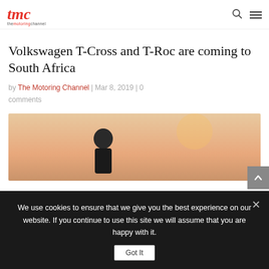tmc — themotoringchannel (logo with search and menu icons)
Volkswagen T-Cross and T-Roc are coming to South Africa
by The Motoring Channel | Mar 8, 2019 | 0 comments
[Figure (photo): A person standing outdoors against a warm orange/sunset sky background]
We use cookies to ensure that we give you the best experience on our website. If you continue to use this site we will assume that you are happy with it.